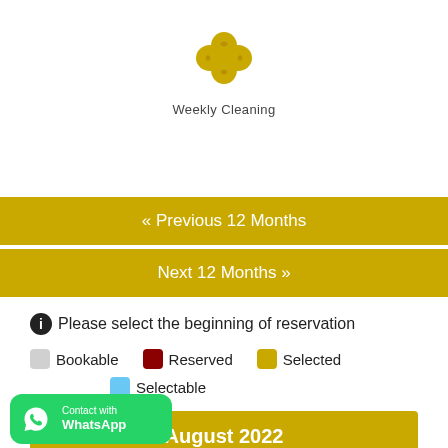[Figure (logo): Four-leaf clover icon in gold/yellow color]
Weekly Cleaning
« Previous 12 Months
Next 12 Months »
Please select the beginning of reservation
Bookable
Reserved
Selected
Selectable
August 2022
[Figure (logo): WhatsApp contact button with green background]